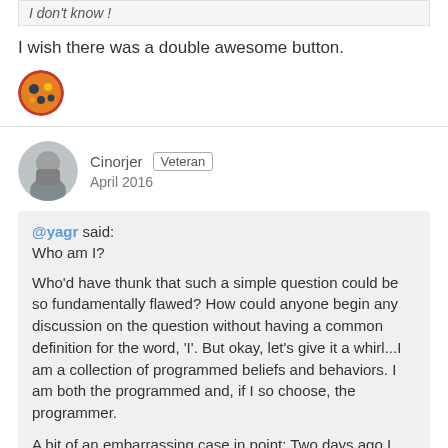I don't know !
I wish there was a double awesome button.
[Figure (photo): Small circular avatar with orange and dark decorative design]
Cinorjer  Veteran
April 2016
[Figure (photo): Circular avatar of a person in grey clothing]
@yagr said:
Who am I?

Who'd have thunk that such a simple question could be so fundamentally flawed? How could anyone begin any discussion on the question without having a common definition for the word, 'I'. But okay, let's give it a whirl...I am a collection of programmed beliefs and behaviors. I am both the programmed and, if I so choose, the programmer.

A bit of an embarrassing case in point: Two days ago I realized that for the last three weeks or so, I've been